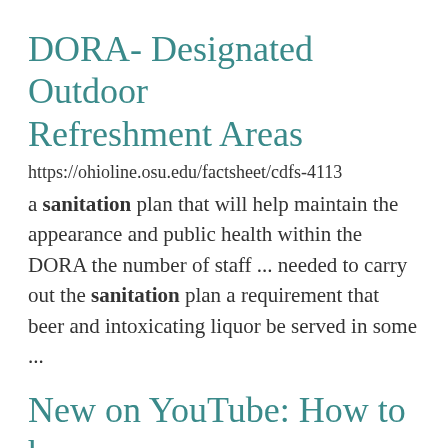DORA- Designated Outdoor Refreshment Areas
https://ohioline.osu.edu/factsheet/cdfs-4113
a sanitation plan that will help maintain the appearance and public health within the DORA the number of staff ... needed to carry out the sanitation plan a requirement that beer and intoxicating liquor be served in some ...
New on YouTube: How to have water for everyone in Ohio
https://cfaes.osu.edu/newsletter/cfaes-impact/july-august-2022/new-youtube-how-